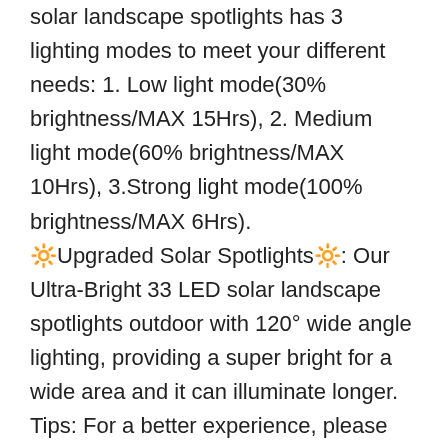solar landscape spotlights has 3 lighting modes to meet your different needs: 1. Low light mode(30% brightness/MAX 15Hrs), 2. Medium light mode(60% brightness/MAX 10Hrs), 3.Strong light mode(100% brightness/MAX 6Hrs).
🔆Upgraded Solar Spotlights🔆: Our Ultra-Bright 33 LED solar landscape spotlights outdoor with 120° wide angle lighting, providing a super bright for a wide area and it can illuminate longer. Tips: For a better experience, please charge in the sun for 8-9 hours on your first use.
🔆2-in-1 of Easy Installation🔆: 2-in-1 Solar Landscaping Spotlights can bring you a different experience, for example you can use the stakes to insert into the grass as a solar landscape spotlight, or you can use screws to install into the wall as a solar powered wall light. It can lighting your yard, garden, patio, driveway, pool, garage, front doors